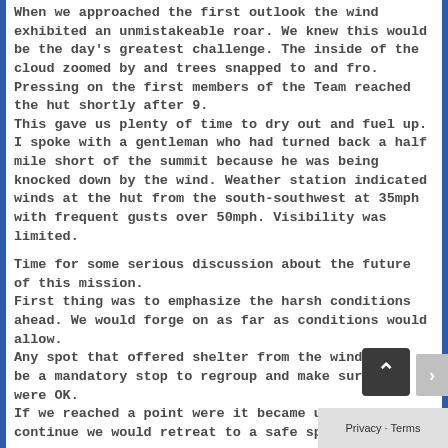When we approached the first outlook the wind exhibited an unmistakeable roar. We knew this would be the day's greatest challenge. The inside of the cloud zoomed by and trees snapped to and fro. Pressing on the first members of the Team reached the hut shortly after 9. This gave us plenty of time to dry out and fuel up. I spoke with a gentleman who had turned back a half mile short of the summit because he was being knocked down by the wind. Weather station indicated winds at the hut from the south-southwest at 35mph with frequent gusts over 50mph. Visibility was limited.

Time for some serious discussion about the future of this mission.
First thing was to emphasize the harsh conditions ahead. We would forge on as far as conditions would allow.
Any spot that offered shelter from the wind would be a mandatory stop to regroup and make sure all were OK.
If we reached a point were it became unsafe to continue we would retreat to a safe spot and set up our rig there.
The Team members agreed and looked at to each...